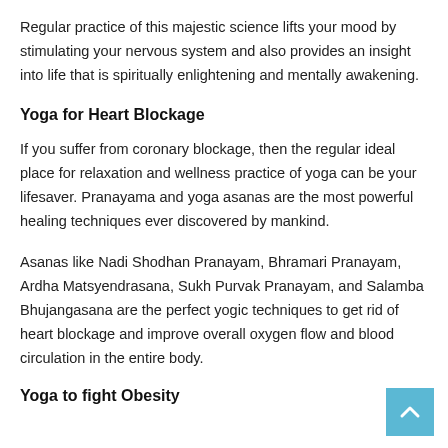Regular practice of this majestic science lifts your mood by stimulating your nervous system and also provides an insight into life that is spiritually enlightening and mentally awakening.
Yoga for Heart Blockage
If you suffer from coronary blockage, then the regular ideal place for relaxation and wellness practice of yoga can be your lifesaver. Pranayama and yoga asanas are the most powerful healing techniques ever discovered by mankind.
Asanas like Nadi Shodhan Pranayam, Bhramari Pranayam, Ardha Matsyendrasana, Sukh Purvak Pranayam, and Salamba Bhujangasana are the perfect yogic techniques to get rid of heart blockage and improve overall oxygen flow and blood circulation in the entire body.
Yoga to fight Obesity